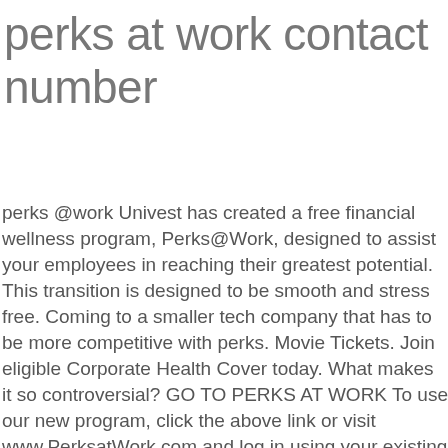perks at work contact number
perks @work Univest has created a free financial wellness program, Perks@Work, designed to assist your employees in reaching their greatest potential. This transition is designed to be smooth and stress free. Coming to a smaller tech company that has to be more competitive with perks. Movie Tickets. Join eligible Corporate Health Cover today. What makes it so controversial? GO TO PERKS AT WORK To use our new program, click the above link or visit www.PerksatWork.com and log in using your existing username and password. App Store Download Google Play Download. Technology: Inborn Blacksmith: Increases the yield of hardware products: +3 nails, +1 simple parts, +1 complex parts, and +2 steel parts. You like to work with red-hot iron. Work @Perks; Login. The fact of the matter is, after health insurance, the most desirable perks and benefits are those that offer flexibility while improving work-life balance. Up to 90% off at 18,000 locations. Any WOWPoints on pending purchases will be